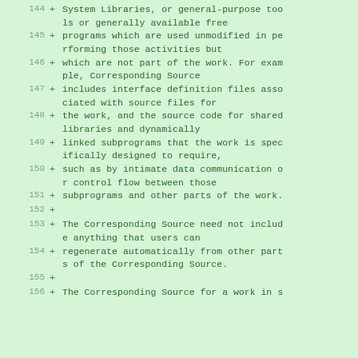144 + System Libraries, or general-purpose tools or generally available free
145 + programs which are used unmodified in performing those activities but
146 + which are not part of the work. For example, Corresponding Source
147 + includes interface definition files associated with source files for
148 + the work, and the source code for shared libraries and dynamically
149 + linked subprograms that the work is specifically designed to require,
150 + such as by intimate data communication or control flow between those
151 + subprograms and other parts of the work.
152 +
153 + The Corresponding Source need not include anything that users can
154 + regenerate automatically from other parts of the Corresponding Source.
155 +
156 + The Corresponding Source for a work in s